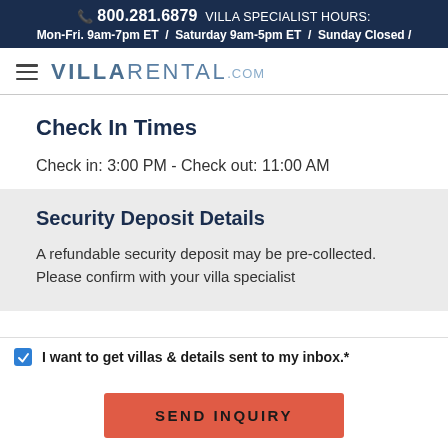📞 800.281.6879 VILLA SPECIALIST HOURS: Mon-Fri. 9am-7pm ET / Saturday 9am-5pm ET / Sunday Closed /
[Figure (logo): VillaRental.com logo with hamburger menu icon]
Check In Times
Check in: 3:00 PM - Check out: 11:00 AM
Security Deposit Details
A refundable security deposit may be pre-collected. Please confirm with your villa specialist
I want to get villas & details sent to my inbox.*
SEND INQUIRY